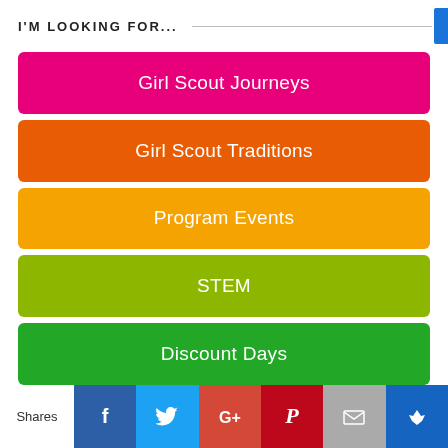I'M LOOKING FOR...
Girl Scout Journeys
Girl Scout Traditions
Program Events
STEM
Discount Days
Shares | Facebook | Twitter | Google+ | Pinterest | Email | Crown